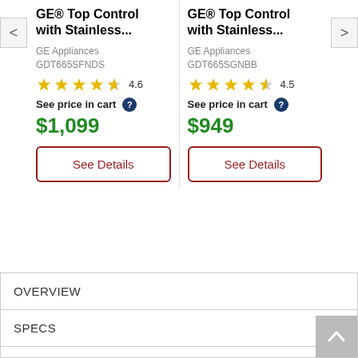GE® Top Control with Stainless...
GE Appliances
GDT665SFNDS
4.6
See price in cart
$1,099
GE® Top Control with Stainless...
GE Appliances
GDT665SGNBB
4.5
See price in cart
$949
OVERVIEW
SPECS